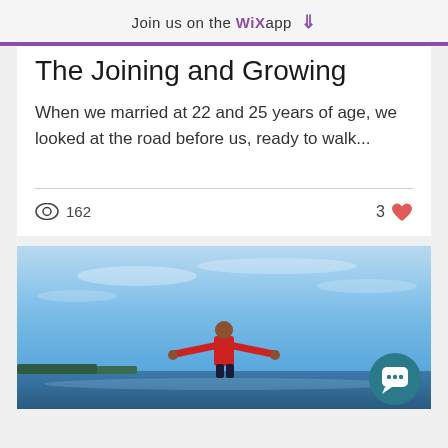Join us on the WiX app ↓
The Joining and Growing
When we married at 22 and 25 years of age, we looked at the road before us, ready to walk...
162 views · 3 likes
[Figure (photo): Photo of a child in a red shirt with arms outstretched standing near a body of water under a blue sky, viewed from behind. A teal chat button is visible in the bottom right corner.]